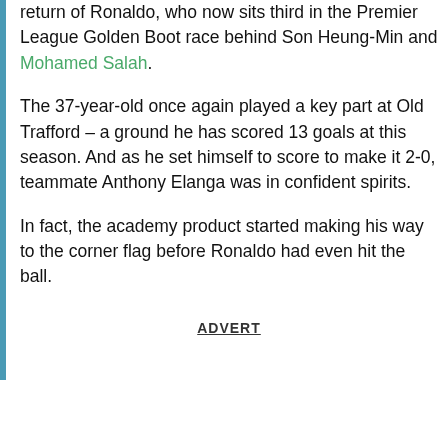return of Ronaldo, who now sits third in the Premier League Golden Boot race behind Son Heung-Min and Mohamed Salah.
The 37-year-old once again played a key part at Old Trafford – a ground he has scored 13 goals at this season. And as he set himself to score to make it 2-0, teammate Anthony Elanga was in confident spirits.
In fact, the academy product started making his way to the corner flag before Ronaldo had even hit the ball.
ADVERT